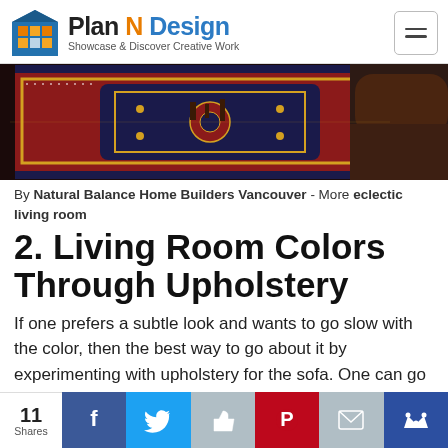Plan N Design — Showcase & Discover Creative Work
[Figure (photo): Overhead view of a red and dark blue Persian/Oriental rug with a dark sofa visible at the right edge]
By Natural Balance Home Builders Vancouver - More eclectic living room
2. Living Room Colors Through Upholstery
If one prefers a subtle look and wants to go slow with the color, then the best way to go about it by experimenting with upholstery for the sofa. One can go in for a nice
11 Shares — social share buttons: Facebook, Twitter, Like, Pinterest, Email, Su